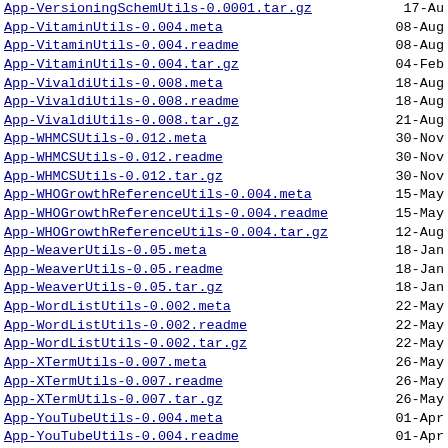App-VersioningSchemUtils-0.0001.tar.gz  17-Au
App-VitaminUtils-0.004.meta  08-Aug
App-VitaminUtils-0.004.readme  08-Aug
App-VitaminUtils-0.004.tar.gz  04-Feb
App-VivaldiUtils-0.008.meta  18-Aug
App-VivaldiUtils-0.008.readme  18-Aug
App-VivaldiUtils-0.008.tar.gz  21-Aug
App-WHMCSUtils-0.012.meta  30-Nov
App-WHMCSUtils-0.012.readme  30-Nov
App-WHMCSUtils-0.012.tar.gz  30-Nov
App-WHOGrowthReferenceUtils-0.004.meta  15-May
App-WHOGrowthReferenceUtils-0.004.readme  15-May
App-WHOGrowthReferenceUtils-0.004.tar.gz  12-Aug
App-WeaverUtils-0.05.meta  18-Jan
App-WeaverUtils-0.05.readme  18-Jan
App-WeaverUtils-0.05.tar.gz  18-Jan
App-WordListUtils-0.002.meta  22-May
App-WordListUtils-0.002.readme  22-May
App-WordListUtils-0.002.tar.gz  22-May
App-XTermUtils-0.007.meta  26-May
App-XTermUtils-0.007.readme  26-May
App-XTermUtils-0.007.tar.gz  26-May
App-YouTubeUtils-0.004.meta  01-Apr
App-YouTubeUtils-0.004.readme  01-Apr
App-YouTubeUtils-0.004.tar.gz  14-Jun
App-YoutubeDlIf-0.004.meta  26-Aug
App-YoutubeDlIf-0.004.readme  26-Aug
App-YoutubeDlIf-0.004.tar.gz  26-Aug
App-YoutubeDlIfNotYet-0.003.meta  05-Apr
App-YoutubeDlIfNotYet-0.003.readme  05-Apr
App-YoutubeDlIfNotYet-0.003.tar.gz  14-Jun